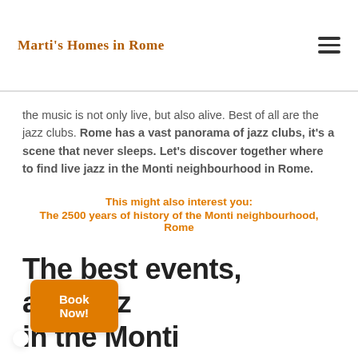Marti's Homes in Rome
the music is not only live, but also alive. Best of all are the jazz clubs. Rome has a vast panorama of jazz clubs, it's a scene that never sleeps. Let's discover together where to find live jazz in the Monti neighbourhood in Rome.
This might also interest you:
The 2500 years of history of the Monti neighbourhood, Rome
The best events, and jazz in the Monti neighbourhood